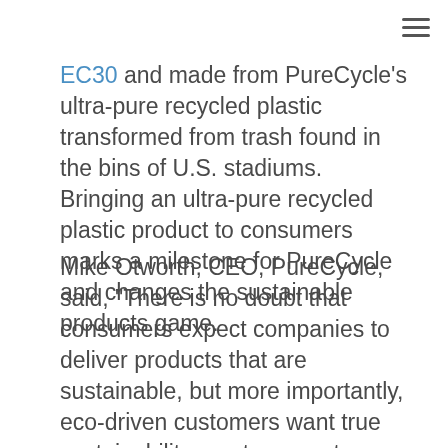EC30 and made from PureCycle's ultra-pure recycled plastic transformed from trash found in the bins of U.S. stadiums. Bringing an ultra-pure recycled plastic product to consumers marks a milestone for PureCycle and changes the sustainable products game.
Mike Otworth, CEO, PureCycle, said, “There is no doubt that consumers expect companies to deliver products that are sustainable, but more importantly, eco-driven customers want true sustainability – not corporate greenwashing. What we are creating at PureCycle is more than a plastic that can be infinitely sustainable, we are giving brands an opportunity to be